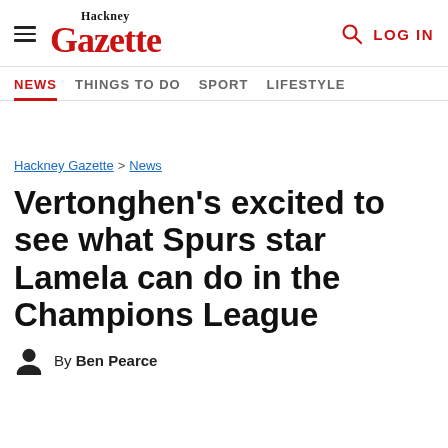Hackney Gazette — NEWS | THINGS TO DO | SPORT | LIFESTYLE | LOG IN
Hackney Gazette > News
Vertonghen's excited to see what Spurs star Lamela can do in the Champions League
By Ben Pearce